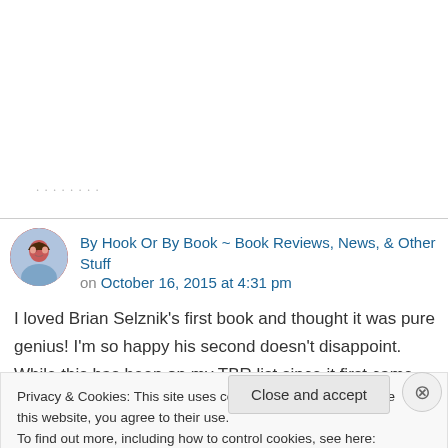(faded header text, partially visible)
By Hook Or By Book ~ Book Reviews, News, & Other Stuff on October 16, 2015 at 4:31 pm
I loved Brian Selznik’s first book and thought it was pure genius! I’m so happy his second doesn’t disappoint. While this has been on my TBR list since it first came out, I just haven’t
Privacy & Cookies: This site uses cookies. By continuing to use this website, you agree to their use.
To find out more, including how to control cookies, see here: Cookie Policy
Close and accept